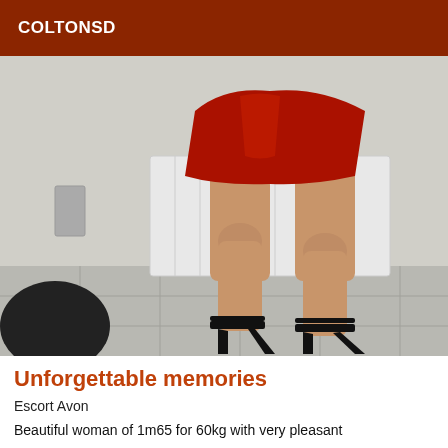COLTONSD
[Figure (photo): A woman standing in a room wearing a red latex mini skirt and black high heel sandals, viewed from roughly the waist down, with a white radiator and tiled floor in the background.]
Unforgettable memories
Escort Avon
Beautiful woman of 1m65 for 60kg with very pleasant